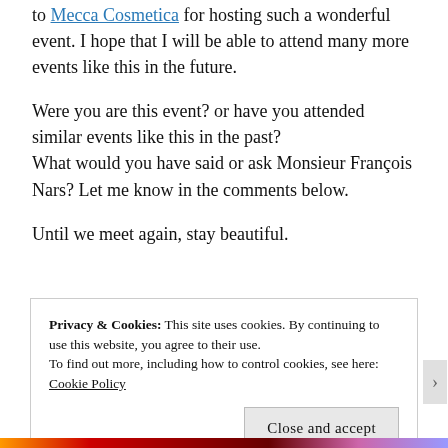to Mecca Cosmetica for hosting such a wonderful event. I hope that I will be able to attend many more events like this in the future.
Were you are this event? or have you attended similar events like this in the past?
What would you have said or ask Monsieur François Nars? Let me know in the comments below.
Until we meet again, stay beautiful.
Privacy & Cookies: This site uses cookies. By continuing to use this website, you agree to their use.
To find out more, including how to control cookies, see here:
Cookie Policy